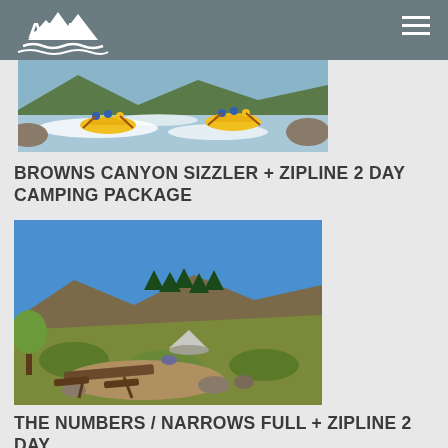AVA — navigation header with logo and menu
[Figure (photo): White-water rafting scene with two yellow inflatable rafts carrying paddlers in blue and yellow gear navigating rapids with rocky shores and forested hills]
BROWNS CANYON SIZZLER + ZIPLINE 2 DAY CAMPING PACKAGE
[Figure (photo): Outdoor camping scene with picnic table and white tent set against a rocky hillside with pine trees under a bright blue sky]
THE NUMBERS / NARROWS FULL + ZIPLINE 2 DAY CAMPING PACKAGE